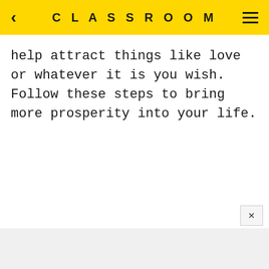CLASSROOM
help attract things like love or whatever it is you wish. Follow these steps to bring more prosperity into your life.